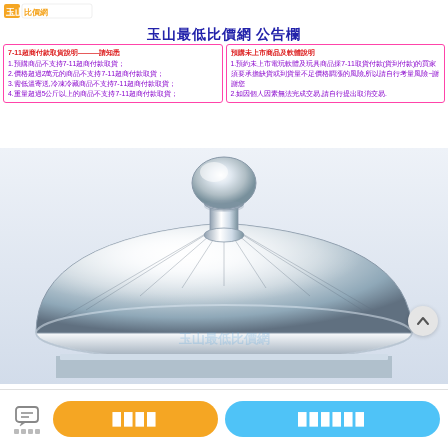玉山最低比價網
玉山最低比價網 公告欄
7-11超商付款取貨說明———請知悉
1.預購商品不支持7-11超商付款取貨；
2.價格超過2萬元的商品不支持7-11超商付款取貨；
3.需低溫寄送,冷凍冷藏商品不支持7-11超商付款取貨；
4.重量超過5公斤以上的商品不支持7-11超商付款取貨；
預購未上市商品及軟體說明
1.預約未上市電玩軟體及玩具商品採7-11取貨付款(貨到付款)的買家須要承擔缺貨或到貨量不足價格調漲的風險,所以請自行考量風險~謝謝您
2.如因個人因素無法完成交易,請自行提出取消交易.
[Figure (photo): Close-up photo of a shiny stainless steel pot lid with a round knob handle, showing reflective metallic surface]
□□□□  □□□□□□